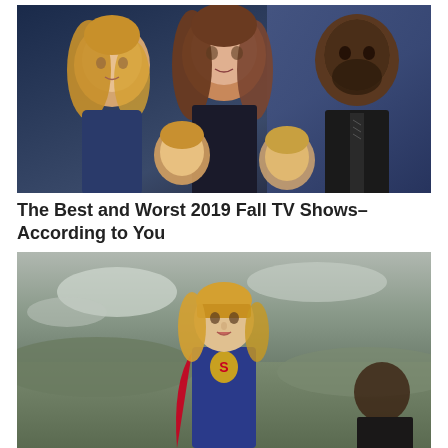[Figure (photo): Promotional photo of TV show cast members: a young blonde woman on the left, a brunette woman in the center, a man in a suit on the right, and two other cast members partially visible in the foreground]
The Best and Worst 2019 Fall TV Shows–According to You
[Figure (photo): A blonde woman in a superhero costume (Supergirl) standing outdoors with a cloudy sky in the background]